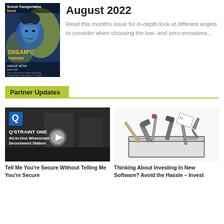[Figure (photo): School Transportation News magazine cover for August 2022, showing a young boy's face with blue-toned artistic rendering, text 'DREAM' and 'THINKING', 'GARAGE STAR', 'Nova Grit' on a dark blue background]
August 2022
Read this month's issue for in-depth look at different angles to consider when choosing the low- and zero-emissions...
Partner Updates
[Figure (screenshot): Video thumbnail showing Q'STRAINT ONE All-In-One Wheelchair Securement Station promotional video with play button, two people in a bus interior, Q logo in upper left corner]
[Figure (illustration): Black and white illustration of a toolbox filled with various tools including hammers, wrenches, and other implements spilling out]
Tell Me You're Secure Without Telling Me You're Secure
Thinking About Investing In New Software? Avoid the Hassle – Invest